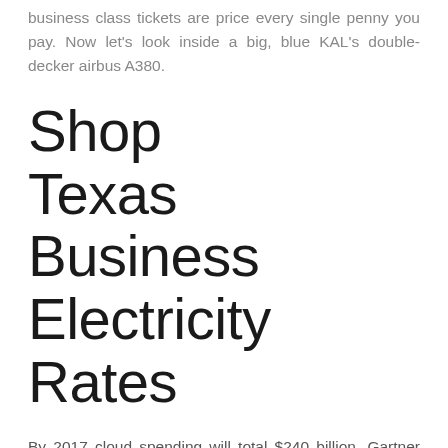business class tickets are price every single penny you pay. Now let's look inside a big, blue KAL's double-decker airbus A380.
Shop Texas Business Electricity Rates
By 2017 cloud spending will total $240 billion, Gartner predicts. Right now is also a good time to guide flights for summer time travel, although be conscious about choices for canceling, altering or rerouting flights if circumstances change. If you guide via a journey agent, he or she can often